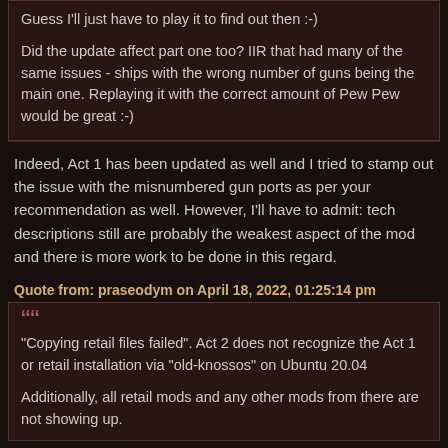Guess I'll just have to play it to find out then :-)

Did the update affect part one too? IIR that had many of the same issues - ships with the wrong number of guns being the main one. Replaying it with the correct amount of Pew Pew would be great :-)
Indeed, Act 1 has been updated as well and I tried to stamp out the issue with the misnumbered gun ports as per your recommendation as well. However, I'll have to admit: tech descriptions still are probably the weakest aspect of the mod and there is more work to be done in this regard.
Quote from: praseodym on April 18, 2022, 01:25:14 pm
"Copying retail files failed". Act 2 does not recognize the Act 1 or retail installation via "old-knossos" on Ubuntu 20.04

Additionally, all retail mods and any other mods from there are not showing up.